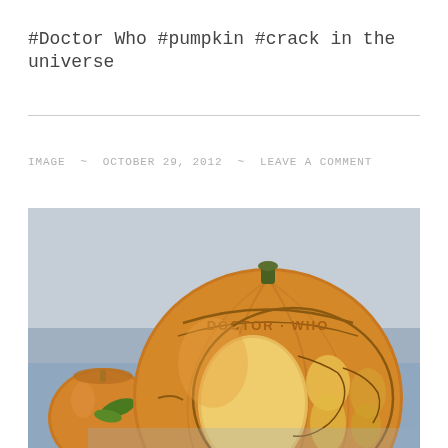#Doctor Who #pumpkin #crack in the universe
IMAGE ~ OCTOBER 29, 2012 ~ LEAVE A COMMENT
[Figure (photo): A carved pumpkin with 'Doctor Who' text and imagery carved/etched into it, showing figures and a circular design. Another pumpkin visible in lower left. Dimly lit scene on a blue surface.]